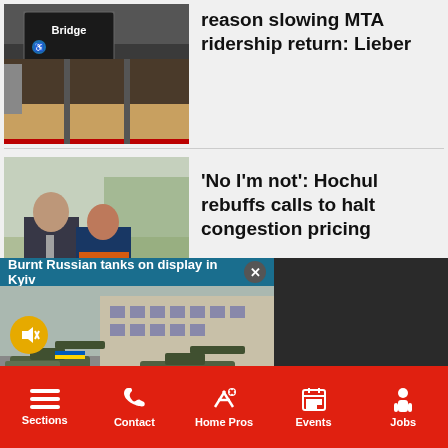[Figure (photo): Photo of a subway station with a Bridge sign visible]
reason slowing MTA ridership return: Lieber
[Figure (photo): Photo of two people, a man in a suit and a woman at a podium outdoors]
'No I'm not': Hochul rebuffs calls to halt congestion pricing
[Figure (screenshot): Video overlay showing 'Burnt Russian tanks on display in Kyiv' with street scene of military vehicles]
Sections  Contact  Home Pros  Events  Jobs